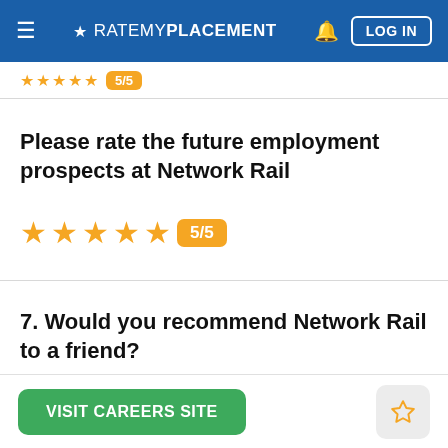RATEMYPLACEMENT — LOG IN
[Figure (other): Partially visible star rating row with orange badge]
Please rate the future employment prospects at Network Rail
[Figure (other): 5 orange stars rating with badge 5/5]
7. Would you recommend Network Rail to a friend?
VISIT CAREERS SITE